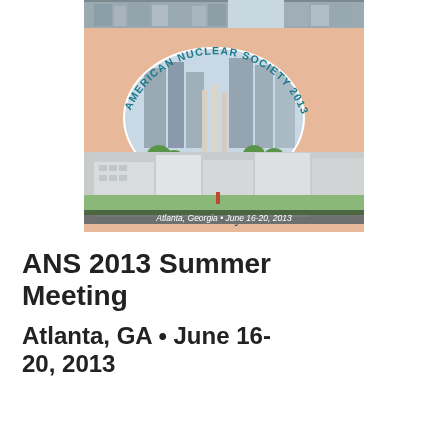[Figure (illustration): Cover of the American Nuclear Society 2013 Annual Meeting official program. Salmon/peach background with arched teal text reading 'AMERICAN NUCLEAR SOCIETY 2013 ANNUAL MEETING'. Contains an oval photo of Atlanta cityscape with Centennial Olympic Park fountains and skyscrapers, and a rectangular photo below of modern building complex. Text reads: 'Next Generation Nuclear Energy: Prospects and Challenges' Official Program. Bottom banner: Atlanta, Georgia • June 16-20, 2013.]
ANS 2013 Summer Meeting
Atlanta, GA • June 16-20, 2013